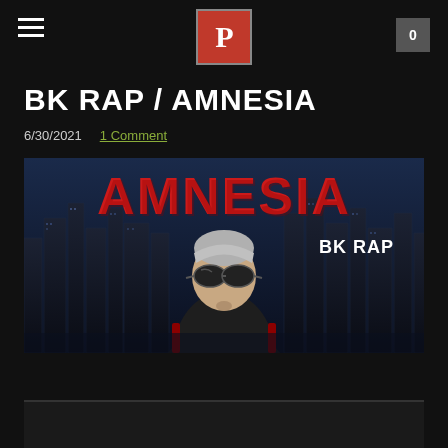P — BK RAP / AMNESIA navigation header with hamburger menu and cart button
BK RAP / AMNESIA
6/30/2021  1 Comment
[Figure (illustration): Promotional album art for BK RAP's Amnesia. Illustrated man with sunglasses and hoodie in front of a dark city skyline. Large red 'AMNESIA' text at top and 'BK RAP' text in upper right corner.]
[Figure (photo): Partial image visible at bottom of page, dark background.]